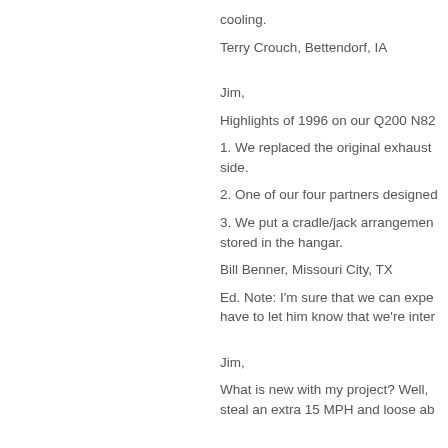cooling.
Terry Crouch, Bettendorf, IA
Jim,
Highlights of 1996 on our Q200 N82
1. We replaced the original exhaust side.
2. One of our four partners designed
3. We put a cradle/jack arrangement stored in the hangar.
Bill Benner, Missouri City, TX
Ed. Note: I'm sure that we can expe have to let him know that we're inter
Jim,
What is new with my project? Well, steal an extra 15 MPH and loose ab